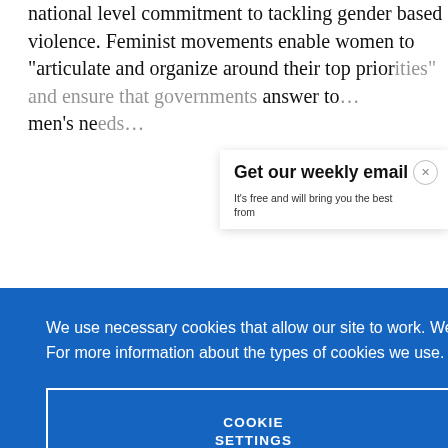national level commitment to tackling gender based violence. Feminist movements enable women to “articulate and organize around their top prior[ities” and ensure that governments answer to[…] men’s ne[eds…]
Get our weekly email
It’s free and will bring you the best from
We use necessary cookies that allow our site to work. We also set optional cookies that help us improve our website. For more information about the types of cookies we use. READ OUR COOKIES POLICY HERE
COOKIE SETTINGS
ALLOW ALL COOKIES
data.